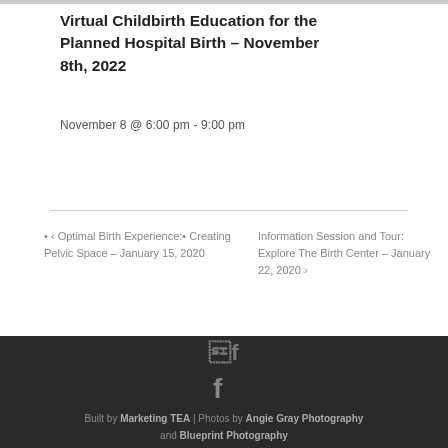Virtual Childbirth Education for the Planned Hospital Birth – November 8th, 2022
November 8 @ 6:00 pm - 9:00 pm
◂ Optimal Birth Experience:• Creating Pelvic Space – January 15, 2020
Information Session and Tour: Explore The Birth Center – January 22, 2020 ▸
Built by Marketing TEA | Photos by Angie Gray Photography and Blueprint Photography